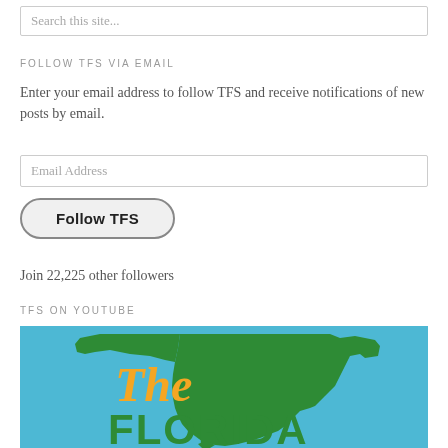Search this site...
FOLLOW TFS VIA EMAIL
Enter your email address to follow TFS and receive notifications of new posts by email.
Email Address
Follow TFS
Join 22,225 other followers
TFS ON YOUTUBE
[Figure (illustration): The Florida Sportsman logo banner — orange italic 'The' script text over a green silhouette of Florida state on a blue background, with 'FLORIDA' in large green block letters below]